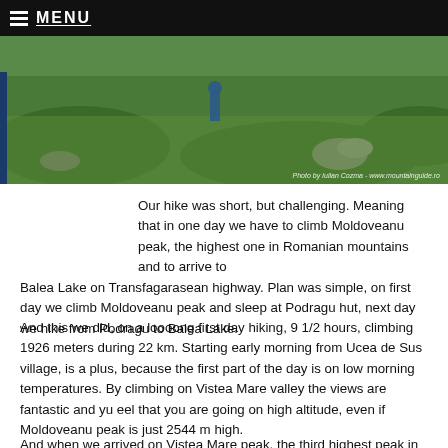MENU
[Figure (photo): Hiker walking through green alpine meadow with rocks, photo credit to Iulian Cozma - www.mountainguide.ro]
Our hike was short, but challenging. Meaning that in one day we have to climb Moldoveanu peak, the highest one in Romanian mountains and to arrive to Balea Lake on Transfagarasean highway. Plan was simple, on first day we climb Moldoveanu peak and sleep at Podragu hut, next day we hike from Podragu to Balea Lake.
And this we did, on a loooong first day hiking, 9 1/2 hours, climbing 1926 meters during 22 km. Starting early morning from Ucea de Sus village, is a plus, because the first part of the day is on low morning temperatures. By climbing on Vistea Mare valley the views are fantastic and yu eel that you are going on high altitude, even if Moldoveanu peak is just 2544 m high.
And when we arrived on Vistea Mare peak, the third highest peak in Romania, the hike from here was one of a really fine...